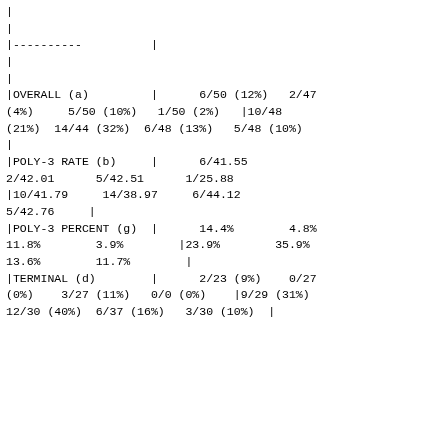| | |
| | |
| |------------        | |
| | |
| | |
| |OVERALL (a)         |      6/50 (12%)   2/47 (4%)    5/50 (10%)   1/50 (2%)   |10/48 (21%)  14/44 (32%)  6/48 (13%)   5/48 (10%) |
| | |
| |POLY-3 RATE (b)     |      6/41.55      2/42.01      5/42.51      1/25.88     |10/41.79     14/38.97     6/44.12      5/42.76     | |
| |POLY-3 PERCENT (g)  |      14.4%        4.8%         11.8%        3.9%        |23.9%        35.9%        13.6%        11.7%        | |
| |TERMINAL (d)        |      2/23 (9%)    0/27 (0%)    3/27 (11%)   0/0 (0%)    |9/29 (31%)   12/30 (40%)  6/37 (16%)   3/30 (10%)  | |